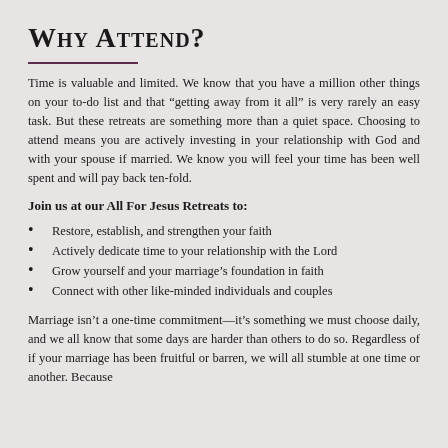Why Attend?
Time is valuable and limited. We know that you have a million other things on your to-do list and that “getting away from it all” is very rarely an easy task. But these retreats are something more than a quiet space. Choosing to attend means you are actively investing in your relationship with God and with your spouse if married. We know you will feel your time has been well spent and will pay back ten-fold.
Join us at our All For Jesus Retreats to:
Restore, establish, and strengthen your faith
Actively dedicate time to your relationship with the Lord
Grow yourself and your marriage’s foundation in faith
Connect with other like-minded individuals and couples
Marriage isn’t a one-time commitment—it’s something we must choose daily, and we all know that some days are harder than others to do so. Regardless of if your marriage has been fruitful or barren, we will all stumble at one time or another. Because